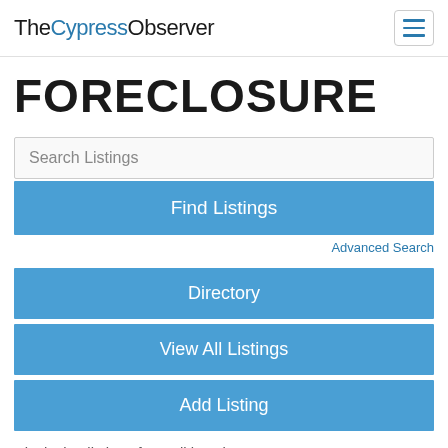TheCypressObserver
FORECLOSURE
Search Listings
Find Listings
Advanced Search
Directory
View All Listings
Add Listing
Displaying listings from all locations.